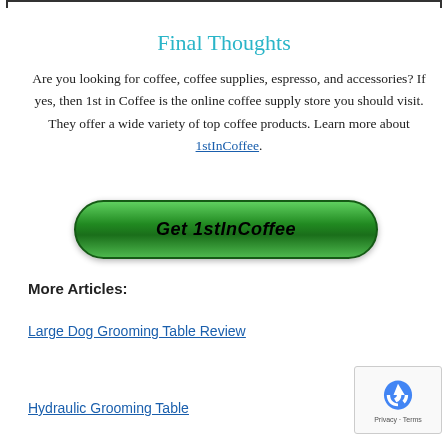Final Thoughts
Are you looking for coffee, coffee supplies, espresso, and accessories? If yes, then 1st in Coffee is the online coffee supply store you should visit. They offer a wide variety of top coffee products. Learn more about 1stInCoffee.
[Figure (other): Green pill-shaped button with bold italic text 'Get 1stInCoffee']
More Articles:
Large Dog Grooming Table Review
Hydraulic Grooming Table